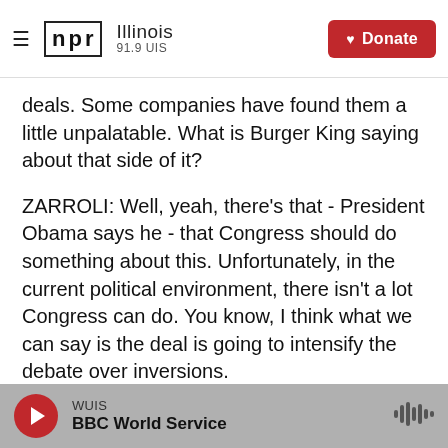NPR Illinois 91.9 UIS | Donate
deals. Some companies have found them a little unpalatable. What is Burger King saying about that side of it?
ZARROLI: Well, yeah, there's that - President Obama says he - that Congress should do something about this. Unfortunately, in the current political environment, there isn't a lot Congress can do. You know, I think what we can say is the deal is going to intensify the debate over inversions.
You know, most of the companies that have done this so far are not really that well-known to the
WUIS | BBC World Service